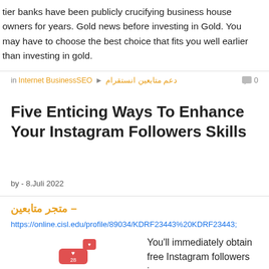tier banks have been publicly crucifying business house owners for years. Gold news before investing in Gold. You may have to choose the best choice that fits you well earlier than investing in gold.
in Internet BusinessSEO • دعم متابعين انستقرام  0
Five Enticing Ways To Enhance Your Instagram Followers Skills
by - 8.Juli 2022
– متجر متابعين
https://online.cisl.edu/profile/89034/KDRF23443%20KDRF23443;
You'll immediately obtain free Instagram followers in your